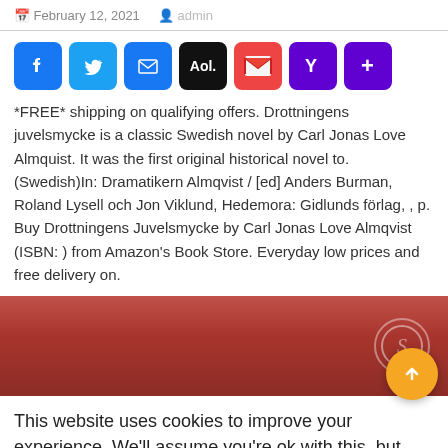February 12, 2021   admin
[Figure (other): Social sharing buttons: Facebook, Twitter, Email, AOL, Gmail, Yahoo, More]
*FREE* shipping on qualifying offers. Drottningens juvelsmycke is a classic Swedish novel by Carl Jonas Love Almquist. It was the first original historical novel to. (Swedish)In: Dramatikern Almqvist / [ed] Anders Burman, Roland Lysell och Jon Viklund, Hedemora: Gidlunds förlag, , p. Buy Drottningens Juvelsmycke by Carl Jonas Love Almqvist (ISBN: ) from Amazon's Book Store. Everyday low prices and free delivery on.
[Figure (photo): Partial view of a red book cover with a circular watermark/seal emblem on the right]
This website uses cookies to improve your experience. We'll assume you're ok with this, but you can opt-out if you
Cookie settings   ACCEPT